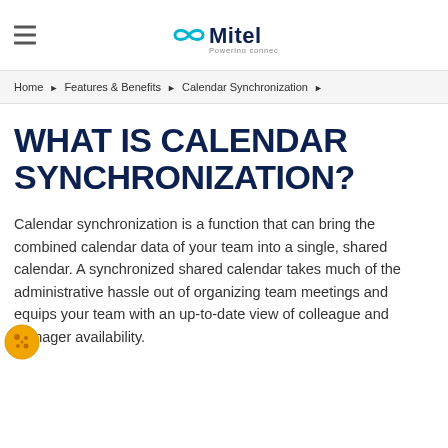Mitel — Powering connections
Home ▶ Features & Benefits ▶ Calendar Synchronization ▶
WHAT IS CALENDAR SYNCHRONIZATION?
Calendar synchronization is a function that can bring the combined calendar data of your team into a single, shared calendar. A synchronized shared calendar takes much of the administrative hassle out of organizing team meetings and equips your team with an up-to-date view of colleague and manager availability.